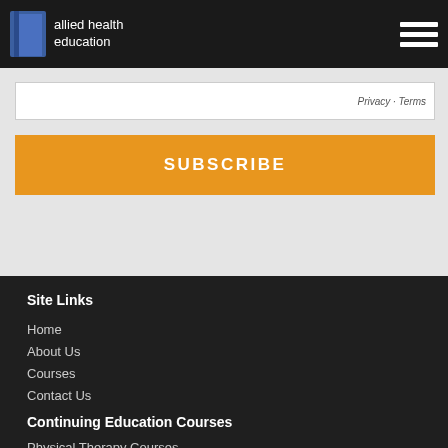allied health education
Privacy · Terms
SUBSCRIBE
Site Links
Home
About Us
Courses
Contact Us
Continuing Education Courses
Physical Therapy Courses
Occupational Therapy Courses
Certified Athletic Trainer Courses